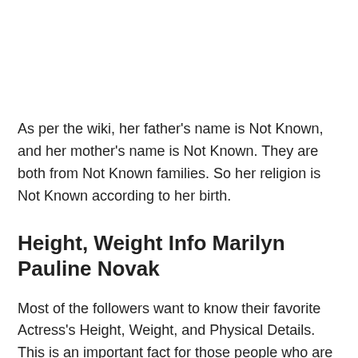As per the wiki, her father's name is Not Known, and her mother's name is Not Known. They are both from Not Known families. So her religion is Not Known according to her birth.
Height, Weight Info Marilyn Pauline Novak
Most of the followers want to know their favorite Actress's Height, Weight, and Physical Details. This is an important fact for those people who are connected with the film